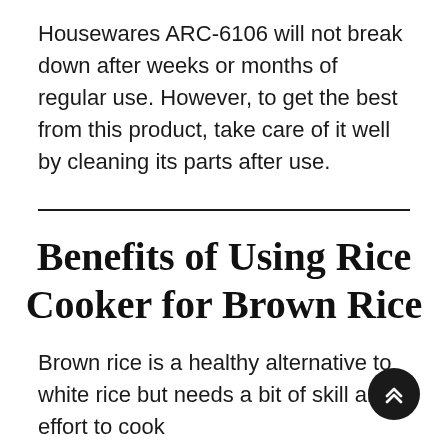Housewares ARC-6106 will not break down after weeks or months of regular use. However, to get the best from this product, take care of it well by cleaning its parts after use.
Benefits of Using Rice Cooker for Brown Rice
Brown rice is a healthy alternative to white rice but needs a bit of skill and effort to cook